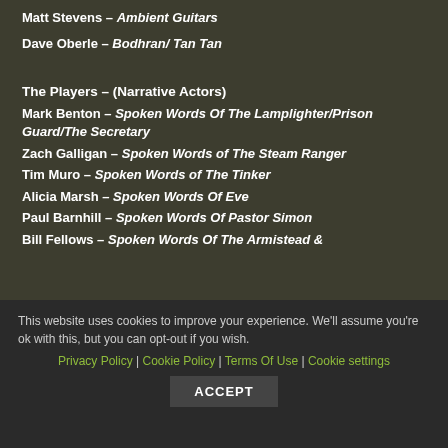Matt Stevens – Ambient Guitars
Dave Oberle – Bodhran/ Tan Tan
The Players – (Narrative Actors)
Mark Benton – Spoken Words Of The Lamplighter/Prison Guard/The Secretary
Zach Galligan – Spoken Words of The Steam Ranger
Tim Muro – Spoken Words of The Tinker
Alicia Marsh – Spoken Words Of Eve
Paul Barnhill – Spoken Words Of Pastor Simon
Bill Fellows – Spoken Words Of The Armistead &
This website uses cookies to improve your experience. We'll assume you're ok with this, but you can opt-out if you wish.
Privacy Policy | Cookie Policy | Terms Of Use | Cookie settings ACCEPT